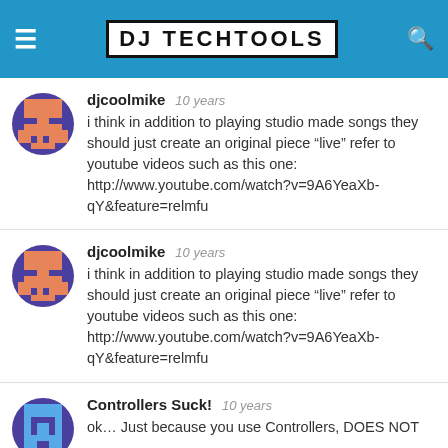DJ TechTools
djcoolmike  10 years
i think in addition to playing studio made songs they should just create an original piece “live” refer to youtube videos such as this one: http://www.youtube.com/watch?v=9A6YeaXb-qY&feature=relmfu
djcoolmike  10 years
i think in addition to playing studio made songs they should just create an original piece “live” refer to youtube videos such as this one: http://www.youtube.com/watch?v=9A6YeaXb-qY&feature=relmfu
Controllers Suck!  10 years
ok… Just because you use Controllers, DOES NOT